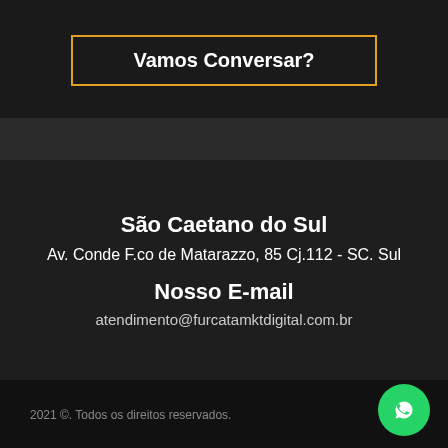Vamos Conversar?
São Caetano do Sul
Av. Conde F.co de Matarazzo, 85 Cj.112 - SC. Sul
Nosso E-mail
atendimento@furcatamktdigital.com.br
2021 ©. Todos os direitos reservados.